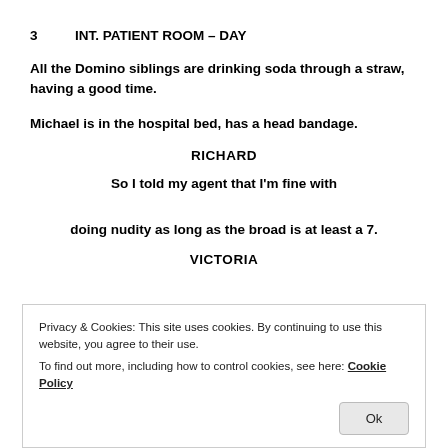3    INT. PATIENT ROOM – DAY
All the Domino siblings are drinking soda through a straw, having a good time.
Michael is in the hospital bed, has a head bandage.
RICHARD
So I told my agent that I'm fine with doing nudity as long as the broad is at least a 7.
VICTORIA
Privacy & Cookies: This site uses cookies. By continuing to use this website, you agree to their use. To find out more, including how to control cookies, see here: Cookie Policy